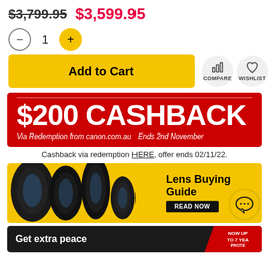$3,799.95  $3,599.95
- 1 +
Add to Cart  COMPARE  WISHLIST
[Figure (infographic): $200 CASHBACK banner, red background, white text. Via Redemption from canon.com.au  Ends 2nd November]
Cashback via redemption HERE, offer ends 02/11/22.
[Figure (infographic): Lens Buying Guide banner, yellow background, camera lenses image, READ NOW button with chat bubble icon]
[Figure (infographic): Get extra peace banner, dark background with red badge NOW UP TO 7 YEA[RS] PROTE[CTION]]